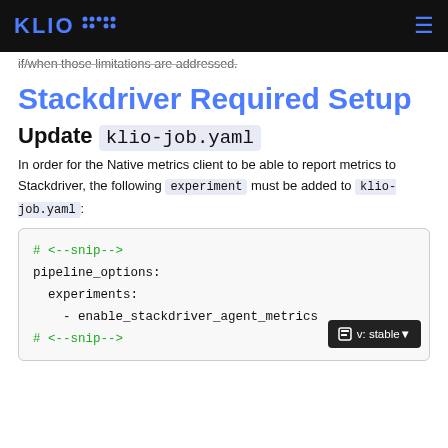KLIO
if/when those limitations are addressed.
Stackdriver Required Setup
Update klio-job.yaml
In order for the Native metrics client to be able to report metrics to Stackdriver, the following experiment must be added to klio-job.yaml:
# <--snip-->
pipeline_options:
  experiments:
    - enable_stackdriver_agent_metrics
# <--snip-->